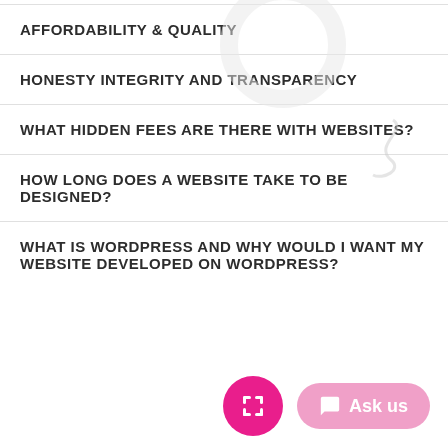AFFORDABILITY & QUALITY
HONESTY INTEGRITY AND TRANSPARENCY
WHAT HIDDEN FEES ARE THERE WITH WEBSITES?
HOW LONG DOES A WEBSITE TAKE TO BE DESIGNED?
WHAT IS WORDPRESS AND WHY WOULD I WANT MY WEBSITE DEVELOPED ON WORDPRESS?
[Figure (screenshot): Pink circular expand/fullscreen button and a pink pill-shaped 'Ask us' chat button at the bottom of the page]